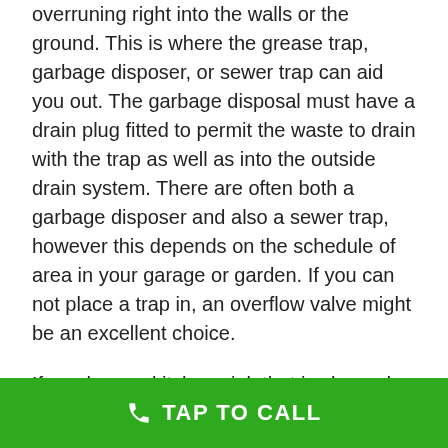overruning right into the walls or the ground. This is where the grease trap, garbage disposer, or sewer trap can aid you out. The garbage disposal must have a drain plug fitted to permit the waste to drain with the trap as well as into the outside drain system. There are often both a garbage disposer and also a sewer trap, however this depends on the schedule of area in your garage or garden. If you can not place a trap in, an overflow valve might be an excellent choice.
If you have a kitchen sink that is clogged or a leaking toilet, you can make use of a combination of drain repair and also cleaning and also changing the drain trap. Lots of kitchen sinks will certainly benefit from being cleaned.
Tankless Water Heater Installation
TAP TO CALL